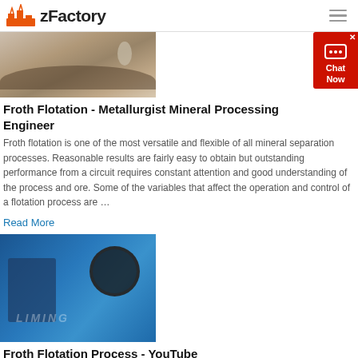zFactory
[Figure (photo): Aerial/landscape image showing mineral processing site with dark sediment pile]
Froth Flotation - Metallurgist Mineral Processing Engineer
Froth flotation is one of the most versatile and flexible of all mineral separation processes. Reasonable results are fairly easy to obtain but outstanding performance from a circuit requires constant attention and good understanding of the process and ore. Some of the variables that affect the operation and control of a flotation process are …
Read More
[Figure (photo): Photo of a blue industrial jaw crusher machine (Liming brand) showing heavy mechanical components including flywheel]
Froth Flotation Process - YouTube
Dec 02, 2016  On this channel you can get education and knowledge for